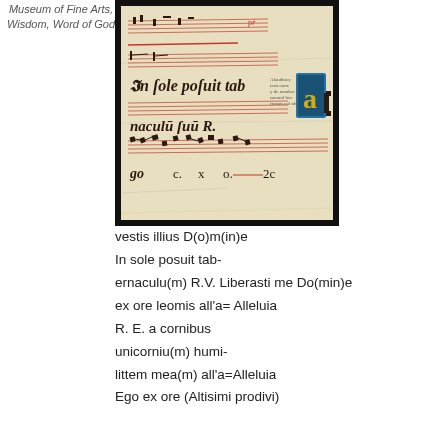Museum of Fine Arts, Wisdom, Word of God
[Figure (photo): A medieval illuminated manuscript page showing musical notation on red staff lines with black gothic text reading 'In sole posuit tab-' and 'nacula suu' with a large decorated blue initial letter, on aged parchment with black border]
vestis illius D(o)m(in)e
In sole posuit tab-
ernaculu(m) R.V. Liberasti me Do(min)e
ex ore leomis all'a= Alleluia
R. E. a cornibus
unicorniu(m) humi-
littem mea(m) all'a=Alleluia
Ego ex ore (Altisimi prodivi)